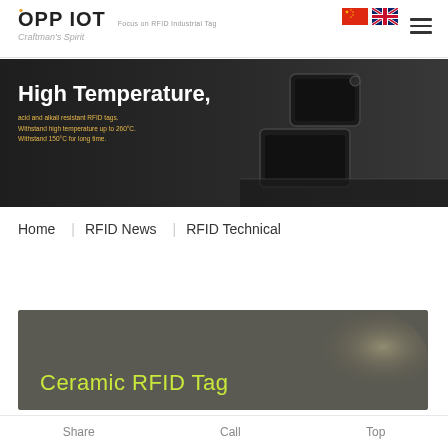OPP IOT — Focus on RFID Industrial Tag, Craftsman's Spirit
[Figure (photo): Banner showing high-temperature, acid and alkali resistant RFID tags on dark background with text: High Temperature, acid and alkali resistant RFID tags. Withstand high temperature up to 260°C. Withstand 150°C for long time.]
Home   RFID News   RFID Technical
[Figure (photo): Dark gray card showing Ceramic RFID Tag text in yellow-green color with blurred background elements]
Share   Call   Top